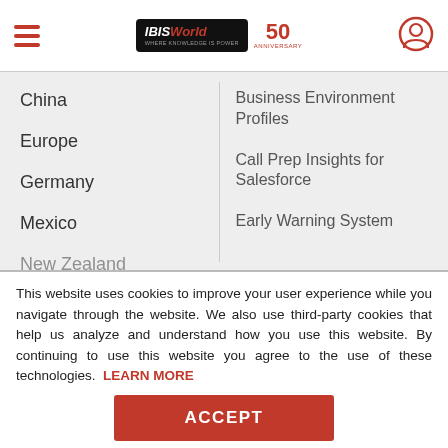IBISWorld 50th Anniversary - Navigation menu header
China
Europe
Germany
Mexico
New Zealand (partial)
Business Environment Profiles
Call Prep Insights for Salesforce
Early Warning System
This website uses cookies to improve your user experience while you navigate through the website. We also use third-party cookies that help us analyze and understand how you use this website. By continuing to use this website you agree to the use of these technologies. LEARN MORE
ACCEPT